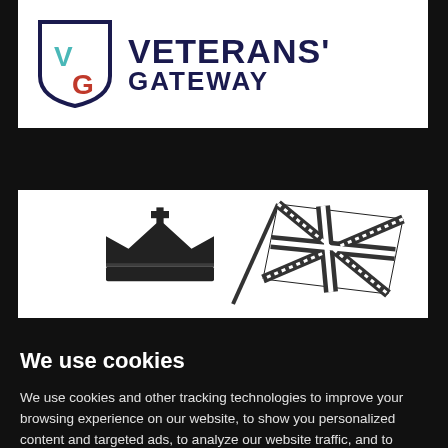[Figure (logo): Veterans' Gateway logo: shield with V (teal) and G (red) letters, beside bold text VETERANS' GATEWAY in dark navy]
[Figure (logo): UK government imagery: Tudor/St Edward's Crown and Union Jack flag in black and white/greyscale]
We use cookies
We use cookies and other tracking technologies to improve your browsing experience on our website, to show you personalized content and targeted ads, to analyze our website traffic, and to understand where our visitors are coming from